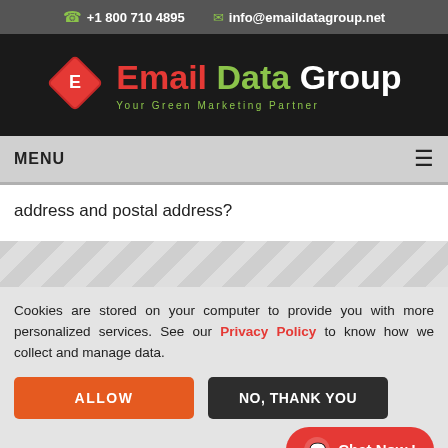+1 800 710 4895  info@emaildatagroup.net
[Figure (logo): Email Data Group logo with red diamond shape and text 'Email Data Group - Your Green Marketing Partner']
MENU
address and postal address?
Cookies are stored on your computer to provide you with more personalized services. See our Privacy Policy to know how we collect and manage data.
ALLOW
NO, THANK YOU
Chat Now.!